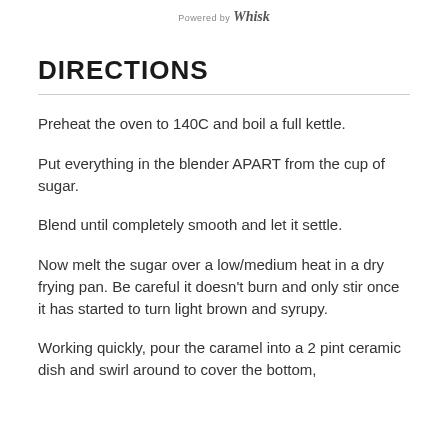Powered by Whisk
DIRECTIONS
Preheat the oven to 140C and boil a full kettle.
Put everything in the blender APART from the cup of sugar.
Blend until completely smooth and let it settle.
Now melt the sugar over a low/medium heat in a dry frying pan. Be careful it doesn't burn and only stir once it has started to turn light brown and syrupy.
Working quickly, pour the caramel into a 2 pint ceramic dish and swirl around to cover the bottom,